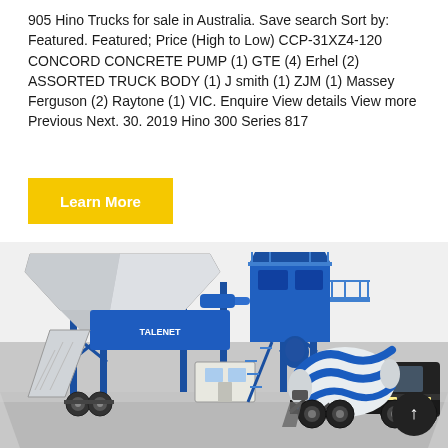905 Hino Trucks for sale in Australia. Save search Sort by: Featured. Featured; Price (High to Low) CCP-31XZ4-120 CONCORD CONCRETE PUMP (1) GTE (4) Erhel (2) ASSORTED TRUCK BODY (1) J smith (1) ZJM (1) Massey Ferguson (2) Raytone (1) VIC. Enquire View details View more Previous Next. 30. 2019 Hino 300 Series 817
[Figure (other): Yellow 'Learn More' button]
[Figure (illustration): 3D rendered illustration of a TALENET branded mobile concrete batching plant (blue steel frame structure with aggregate hoppers and conveyor belts) alongside a concrete mixer truck, parked on a grey surface. The brand name TALENET is visible on the blue hopper.]